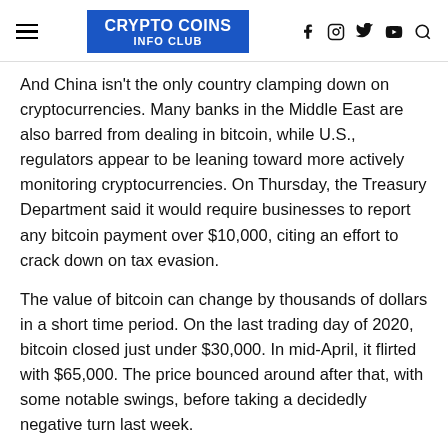CRYPTO COINS INFO CLUB
And China isn't the only country clamping down on cryptocurrencies. Many banks in the Middle East are also barred from dealing in bitcoin, while U.S., regulators appear to be leaning toward more actively monitoring cryptocurrencies. On Thursday, the Treasury Department said it would require businesses to report any bitcoin payment over $10,000, citing an effort to crack down on tax evasion.
The value of bitcoin can change by thousands of dollars in a short time period. On the last trading day of 2020, bitcoin closed just under $30,000. In mid-April, it flirted with $65,000. The price bounced around after that, with some notable swings, before taking a decidedly negative turn last week.
Recommended Reading: Can You Buy Bitcoin Under 18
Cryptocurrency News: Crypto